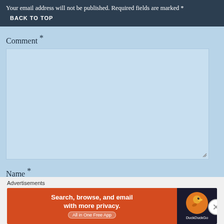Your email address will not be published. Required fields are marked *
Comment *
Name *
[Figure (screenshot): DuckDuckGo advertisement banner: orange left panel with text 'Search, browse, and email with more privacy. All in One Free App' and dark right panel with DuckDuckGo duck logo and brand name.]